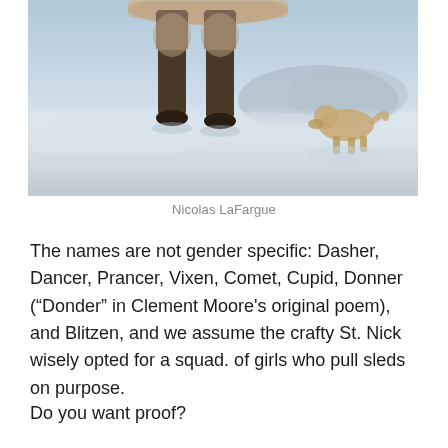[Figure (photo): Close-up photo of reindeer legs and lower body standing on snow, with a dog visible in the background on a snowy landscape with mountains.]
Nicolas LaFargue
The names are not gender specific: Dasher, Dancer, Prancer, Vixen, Comet, Cupid, Donner (“Donder” in Clement Moore's original poem), and Blitzen, and we assume the crafty St. Nick wisely opted for a squad. of girls who pull sleds on purpose.
Do you want proof?